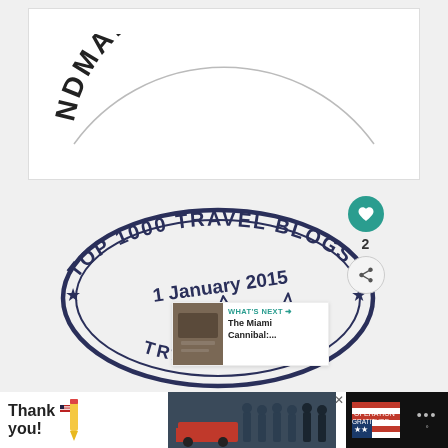[Figure (logo): Partial circular stamp logo showing text 'NDMADEINCA.C' along the top arc, cropped at the edges, on a white background]
[Figure (illustration): Oval stamp badge reading 'TOP 1000 TRAVEL BLOGS' along the top arc, '1 January 2015' in the center, a handwritten signature below, and 'TRAVELIK' along the bottom arc, with decorative stars on the sides, in navy/dark blue ink]
[Figure (other): UI overlay: heart/like button (teal circle with heart icon), like count '2', share button, and 'WHAT'S NEXT' card showing 'The Miami Cannibal:...']
[Figure (other): Advertisement banner at the bottom: 'Thank you!' cursive text with pencil graphic on left, group photo of uniformed personnel in center, Operation Gratitude logo on right, on dark background]